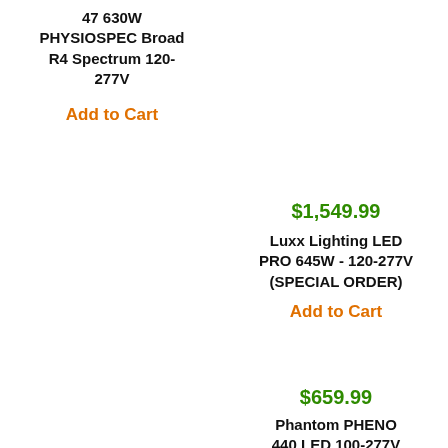47 630W PHYSIOSPEC Broad R4 Spectrum 120-277V
Add to Cart
$1,549.99
Luxx Lighting LED PRO 645W - 120-277V (SPECIAL ORDER)
Add to Cart
$659.99
Phantom PHENO 440 LED 100-277V MR Spec w/10ft ord